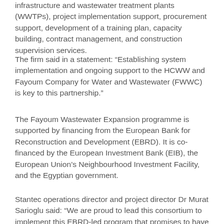infrastructure and wastewater treatment plants (WWTPs), project implementation support, procurement support, development of a training plan, capacity building, contract management, and construction supervision services.
The firm said in a statement: “Establishing system implementation and ongoing support to the HCWW and Fayoum Company for Water and Wastewater (FWWC) is key to this partnership.”
The Fayoum Wastewater Expansion programme is supported by financing from the European Bank for Reconstruction and Development (EBRD). It is co-financed by the European Investment Bank (EIB), the European Union’s Neighbourhood Investment Facility, and the Egyptian government.
Stantec operations director and project director Dr Murat Sarioglu said: “We are proud to lead this consortium to implement this EBRD-led program that promises to have a